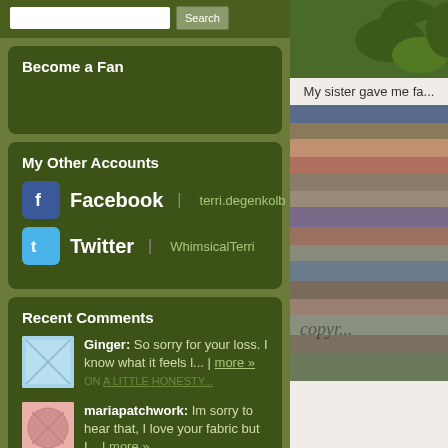Become a Fan
My Other Accounts
Facebook | terri.degenkolb
Twitter | WhimsicalTerri
Recent Comments
Ginger: So sorry for your loss. I know what it feels l... | more »
ON A LITTLE HONESTY...
mariapatchwork: Im sorry to hear that, I love your fabric but I... | more »
My sister gave me fa...
[Figure (photo): Stack of folded fabrics in various patterns and colors with copyright watermark]